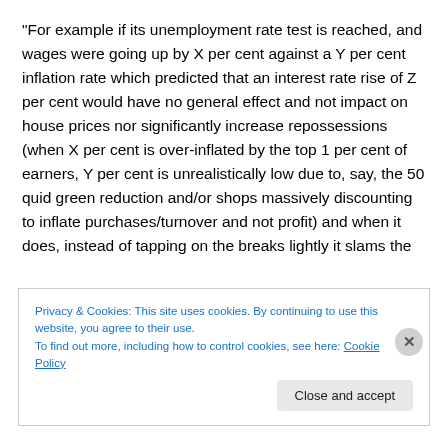“For example if its unemployment rate test is reached, and wages were going up by X per cent against a Y per cent inflation rate which predicted that an interest rate rise of Z per cent would have no general effect and not impact on house prices nor significantly increase repossessions (when X per cent is over-inflated by the top 1 per cent of earners, Y per cent is unrealistically low due to, say, the 50 quid green reduction and/or shops massively discounting to inflate purchases/turnover and not profit) and when it does, instead of tapping on the breaks lightly it slams the
Privacy & Cookies: This site uses cookies. By continuing to use this website, you agree to their use.
To find out more, including how to control cookies, see here: Cookie Policy